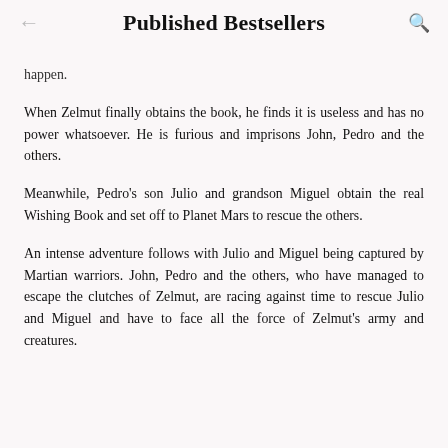Published Bestsellers
happen.
When Zelmut finally obtains the book, he finds it is useless and has no power whatsoever. He is furious and imprisons John, Pedro and the others.
Meanwhile, Pedro's son Julio and grandson Miguel obtain the real Wishing Book and set off to Planet Mars to rescue the others.
An intense adventure follows with Julio and Miguel being captured by Martian warriors. John, Pedro and the others, who have managed to escape the clutches of Zelmut, are racing against time to rescue Julio and Miguel and have to face all the force of Zelmut's army and creatures.